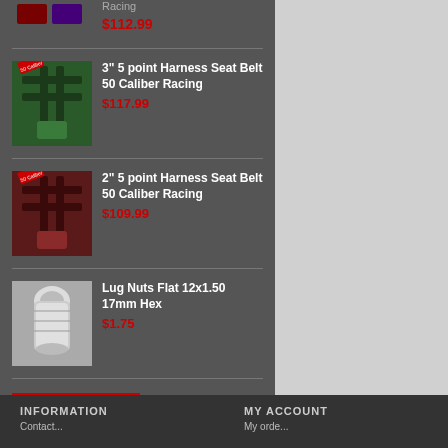[Figure (photo): Top product image partially visible at top of sidebar]
$112.99
[Figure (photo): 3 inch 5 point green harness seat belt product photo]
3" 5 point Harness Seat Belt 50 Caliber Racing
$117.99
[Figure (photo): 2 inch 5 point red harness seat belt product photo]
2" 5 point Harness Seat Belt 50 Caliber Racing
$109.99
[Figure (photo): Lug Nuts Flat 12x1.50 17mm Hex product photo - chrome lug nut]
Lug Nuts Flat 12x1.50 17mm Hex
$1.75
All best sellers
INFORMATION
MY ACCOUNT